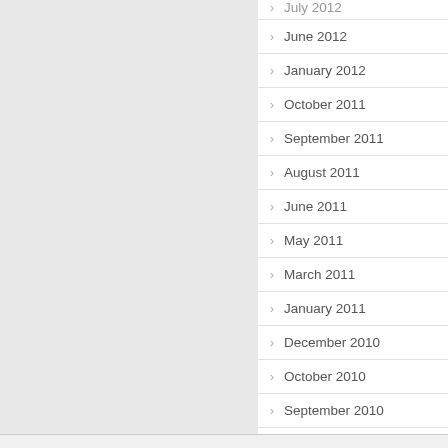June 2012
January 2012
October 2011
September 2011
August 2011
June 2011
May 2011
March 2011
January 2011
December 2010
October 2010
September 2010
August 2010
July 2010